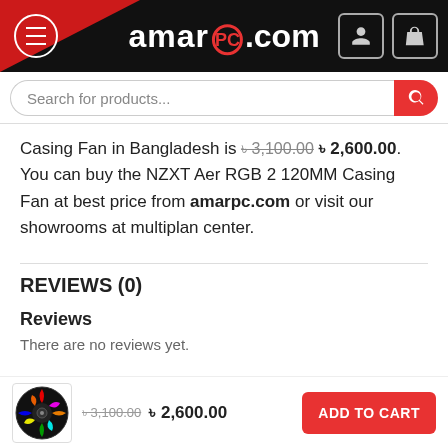amarpc.com
Search for products...
Casing Fan in Bangladesh is ৳3,100.00 ৳ 2,600.00. You can buy the NZXT Aer RGB 2 120MM Casing Fan at best price from amarpc.com or visit our showrooms at multiplan center.
REVIEWS (0)
Reviews
There are no reviews yet.
৳3,100.00 ৳ 2,600.00  ADD TO CART